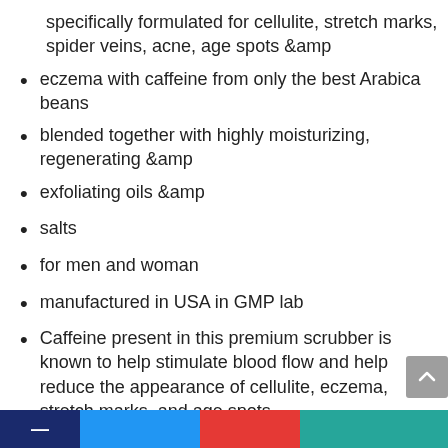specifically formulated for cellulite, stretch marks, spider veins, acne, age spots &amp
eczema with caffeine from only the best Arabica beans
blended together with highly moisturizing, regenerating &amp
exfoliating oils &amp
salts
for men and woman
manufactured in USA in GMP lab
Caffeine present in this premium scrubber is known to help stimulate blood flow and help reduce the appearance of cellulite, eczema, stretch marks, and age spots
Caffeine is commonly used in cellulite creams